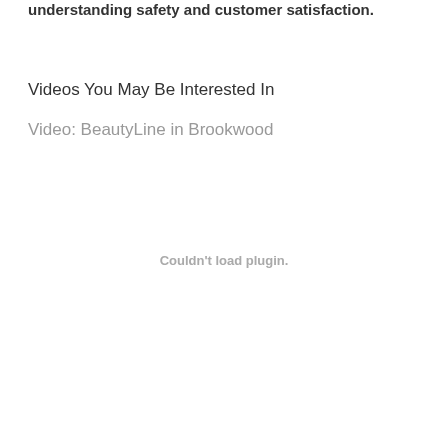understanding safety and customer satisfaction.
Videos You May Be Interested In
Video: BeautyLine in Brookwood
Couldn't load plugin.